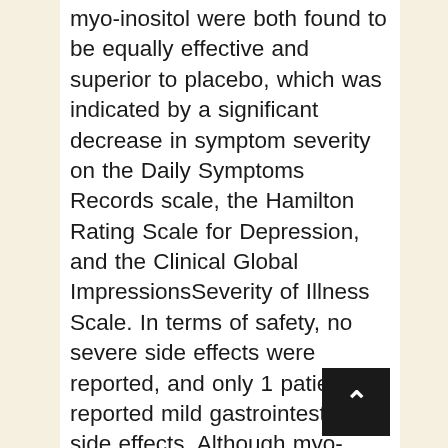myo-inositol were both found to be equally effective and superior to placebo, which was indicated by a significant decrease in symptom severity on the Daily Symptoms Records scale, the Hamilton Rating Scale for Depression, and the Clinical Global ImpressionsSeverity of Illness Scale. In terms of safety, no severe side effects were reported, and only 1 patient reported mild gastrointestinal side effects. Although myo-inositol may be helpful in treating PMDD, at this time further large-scale trials are needed to establish the clinical utility of this treatment. Calcium It has been proposed that a change in calcium regulation may be a contributing factor to the pathophysiology of severe PMS. As a result, calcium supplements have been considered as a treatment for PMDD 64.65 A